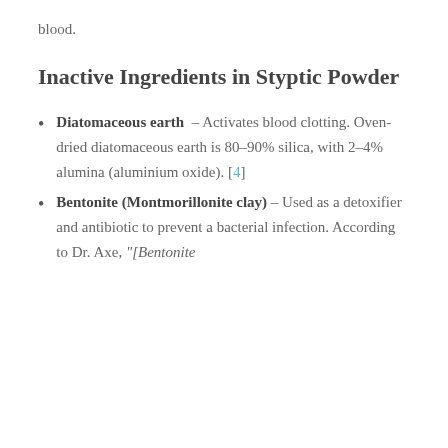blood.
Inactive Ingredients in Styptic Powder
Diatomaceous earth – Activates blood clotting. Oven-dried diatomaceous earth is 80–90% silica, with 2–4% alumina (aluminium oxide). [4]
Bentonite (Montmorillonite clay) – Used as a detoxifier and antibiotic to prevent a bacterial infection. According to Dr. Axe, "[Bentonite